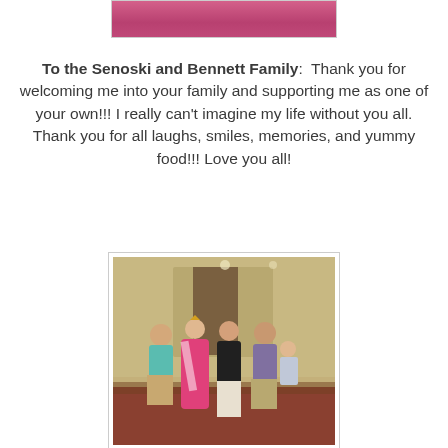[Figure (photo): Partial photo at top showing someone in a pink/magenta dress or outfit, cropped at bottom of frame]
To the Senoski and Bennett Family:  Thank you for welcoming me into your family and supporting me as one of your own!!! I really can't imagine my life without you all. Thank you for all laughs, smiles, memories, and yummy food!!! Love you all!
[Figure (photo): Group photo of five people posing together in what appears to be a hotel ballroom or event venue. One woman is wearing a pink pageant gown with a sash and crown. Others include a man in a teal shirt, two women, an older man in a purple shirt, and a young girl being held.]